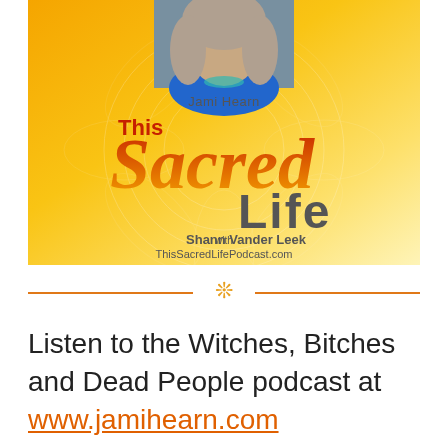[Figure (illustration): Podcast cover art for 'This Sacred Life' with Shann Vander Leek, featuring guest Jami Hearn. Orange/yellow gradient background with decorative mandala circles, photo of woman (Jami Hearn), large stylized text reading 'This Sacred Life', 'with Shann Vander Leek', and 'ThisSacredLifePodcast.com'. Ornamental divider line below image.]
Listen to the Witches, Bitches and Dead People podcast at www.jamihearn.com